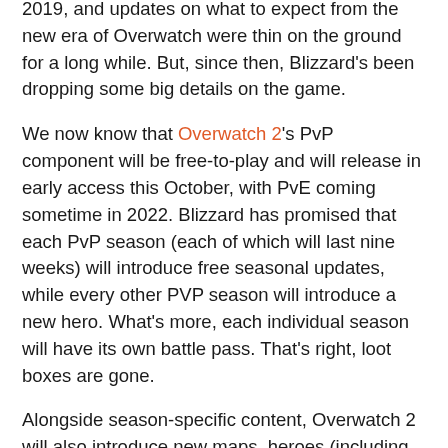2019, and updates on what to expect from the new era of Overwatch were thin on the ground for a long while. But, since then, Blizzard's been dropping some big details on the game.
We now know that Overwatch 2's PvP component will be free-to-play and will release in early access this October, with PvE coming sometime in 2022. Blizzard has promised that each PvP season (each of which will last nine weeks) will introduce free seasonal updates, while every other PVP season will introduce a new hero. What's more, each individual season will have its own battle pass. That's right, loot boxes are gone.
Alongside season-specific content, Overwatch 2 will also introduce new maps, heroes (including one much-anticipated character), modes, and cosmetics. In other words, this new era of Overwatch will be stuffed with new content that should make it feel like a proper sequel, rather than glorified DLC.
While there aren't many details on Overwatch 2's new PvE component, we know that it will introduce story-based and replayable hero missions to the series that will see our heroes